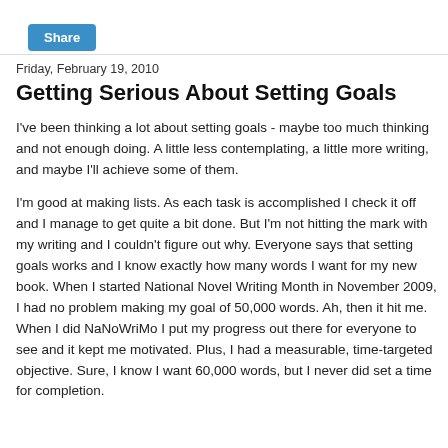Share
Friday, February 19, 2010
Getting Serious About Setting Goals
I've been thinking a lot about setting goals - maybe too much thinking and not enough doing. A little less contemplating, a little more writing, and maybe I'll achieve some of them.
I'm good at making lists. As each task is accomplished I check it off and I manage to get quite a bit done. But I'm not hitting the mark with my writing and I couldn't figure out why. Everyone says that setting goals works and I know exactly how many words I want for my new book. When I started National Novel Writing Month in November 2009, I had no problem making my goal of 50,000 words. Ah, then it hit me. When I did NaNoWriMo I put my progress out there for everyone to see and it kept me motivated. Plus, I had a measurable, time-targeted objective. Sure, I know I want 60,000 words, but I never did set a time for completion.